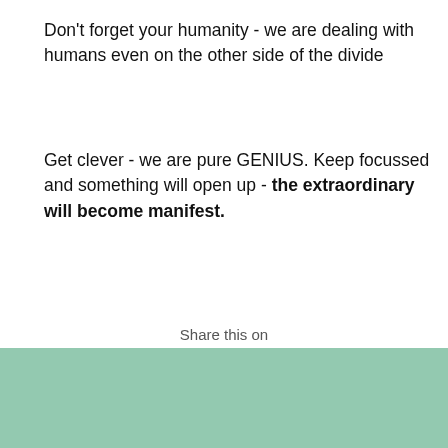Don't forget your humanity - we are dealing with humans even on the other side of the divide
Get clever - we are pure GENIUS. Keep focussed and something will open up - the extraordinary will become manifest.
Share this on
[Figure (other): Social share buttons: Facebook (blue), Twitter (light blue), Pinterest (red), LinkedIn (blue), Heart/like (orange-red)]